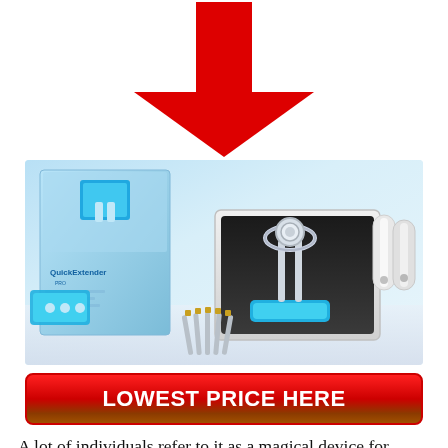[Figure (illustration): Large red downward-pointing arrow centered near the top of the page]
[Figure (photo): Product photo of QuickExtender Pro device shown with its box, components including blue plastic frame, metal extension rods, and carrying case displayed on a reflective white surface]
[Figure (other): Red button with gradient background reading LOWEST PRICE HERE in bold white uppercase text]
A lot of individuals refer to it as a magical device for expanding the penis. Because of